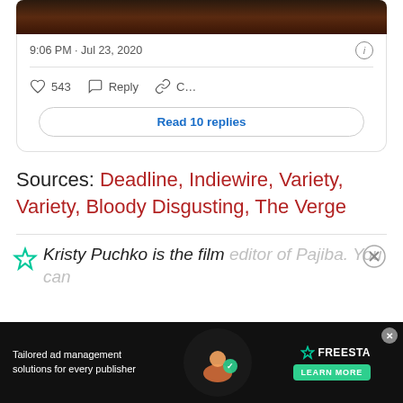[Figure (screenshot): Tweet card showing timestamp 9:06 PM · Jul 23, 2020 with heart (543), Reply, and Copy link actions, and a Read 10 replies button]
Sources: Deadline, Indiewire, Variety, Variety, Bloody Disgusting, The Verge
Kristy Puchko is the film editor of Pajiba. You can
[Figure (screenshot): Advertisement banner: Tailored ad management solutions for every publisher — FREESTA with LEARN MORE button]